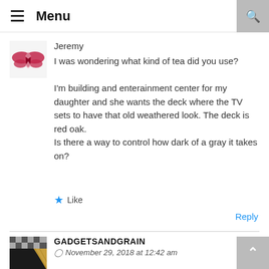≡ Menu
Jeremy
I was wondering what kind of tea did you use?
I'm building and enterainment center for my daughter and she wants the deck where the TV sets to have that old weathered look. The deck is red oak.
Is there a way to control how dark of a gray it takes on?
Like
Reply
GADGETSANDGRAIN
November 29, 2018 at 12:42 am